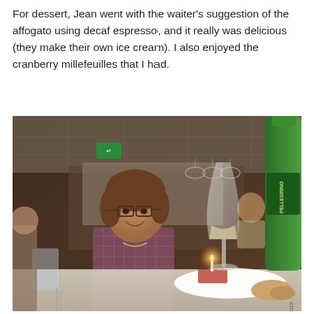For dessert, Jean went with the waiter's suggestion of the affogato using decaf espresso, and it really was delicious (they make their own ice cream). I also enjoyed the cranberry millefeuilles that I had.
[Figure (photo): A woman with short brown hair and glasses sitting at a restaurant table, smiling. In front of her is a dessert on a white plate with a small candle, and a wine glass. A green San Pellegrino bottle is visible on the right side. Other diners are visible in the background. Watermark reads 'Jean Lefebvre 2019'.]